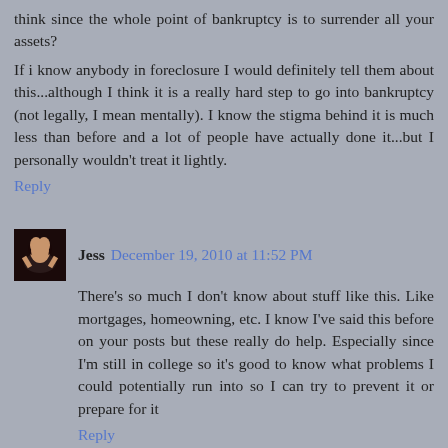think since the whole point of bankruptcy is to surrender all your assets?
If i know anybody in foreclosure I would definitely tell them about this...although I think it is a really hard step to go into bankruptcy (not legally, I mean mentally). I know the stigma behind it is much less than before and a lot of people have actually done it...but I personally wouldn't treat it lightly.
Reply
Jess December 19, 2010 at 11:52 PM
There's so much I don't know about stuff like this. Like mortgages, homeowning, etc. I know I've said this before on your posts but these really do help. Especially since I'm still in college so it's good to know what problems I could potentially run into so I can try to prevent it or prepare for it
Reply
Noniek December 21, 2010 at 7:24 PM